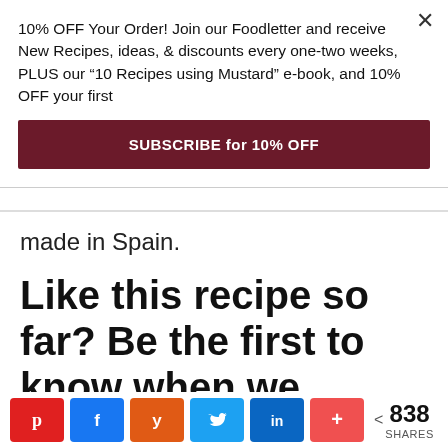10% OFF Your Order! Join our Foodletter and receive New Recipes, ideas, & discounts every one-two weeks, PLUS our “10 Recipes using Mustard” e-book, and 10% OFF your first
SUBSCRIBE for 10% OFF
made in Spain.
Like this recipe so far? Be the first to know when we release new ones!
First Name *
838 SHARES